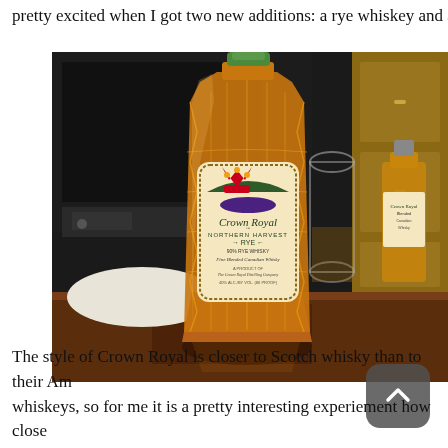pretty excited when I got two new additions: a rye whiskey and a si…
[Figure (photo): Crown Royal Northern Harvest Rye whiskey bottle in the foreground on a wooden table, with a glass and a small Crown Royal miniature bottle in the background. The bottle has a distinctive crystal-cut glass design with a gold/amber color. The label reads 'Crown Royal Northern Harvest RYE 90% Rye Whisky Fine Blended Canadian Whisky'.]
The style of Crown Royal is closer to Scotch whisky than to their Am… whiskeys, so for me it is a pretty interesting experiement how close…